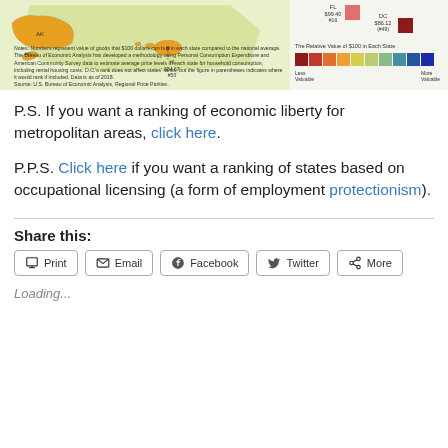[Figure (map): Partial view of a US choropleth map showing relative value of $100 in each state, with Hawaii and Alaska insets visible. Right side shows FL ($99.40, #16) and DC ($86.12, #49) color swatches with a color legend ranging from Less Valuable (dark red) to More Valuable (dark blue).]
Notes: Numbers represent value of goods that $100 dollars can buy in each state compared to the national average. The Bureau of Economic Analysis has developed a methodology using Personal Consumption Expenditure and American Community Survey data to estimate average price levels in each state for household consumption, including rental housing costs. D.C.'s rank does not affect states' ranks, but the figure in parentheses indicates where it would rank if included. Data is as of 2018. Source: U.S. Bureau of Economic Analysis, Regional Price Parities.
P.S. If you want a ranking of economic liberty for metropolitan areas, click here.
P.P.S. Click here if you want a ranking of states based on occupational licensing (a form of employment protectionism).
Share this:
Print
Email
Facebook
Twitter
More
Loading...